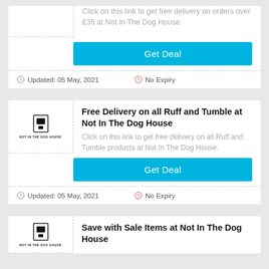Click on this link to get free delivery on orders over £35 at Not In The Dog House.
Get Deal
Updated: 05 May, 2021
No Expiry
Free Delivery on all Ruff and Tumble at Not In The Dog House
Click on this link to get free delivery on all Ruff and Tumble products at Not In The Dog House.
Get Deal
Updated: 05 May, 2021
No Expiry
Save with Sale Items at Not In The Dog House